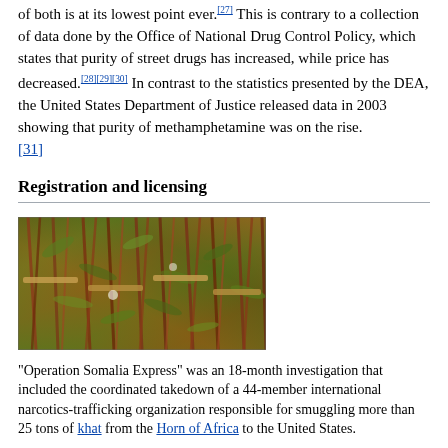of both is at its lowest point ever.[27] This is contrary to a collection of data done by the Office of National Drug Control Policy, which states that purity of street drugs has increased, while price has decreased.[28][29][30] In contrast to the statistics presented by the DEA, the United States Department of Justice released data in 2003 showing that purity of methamphetamine was on the rise. [31]
Registration and licensing
[Figure (photo): Bundles of khat plant stems tied together, showing reddish-purple stems and green leaves, photographed in a pile.]
"Operation Somalia Express" was an 18-month investigation that included the coordinated takedown of a 44-member international narcotics-trafficking organization responsible for smuggling more than 25 tons of khat from the Horn of Africa to the United States.
The DEA has a registration system in place which authorizes